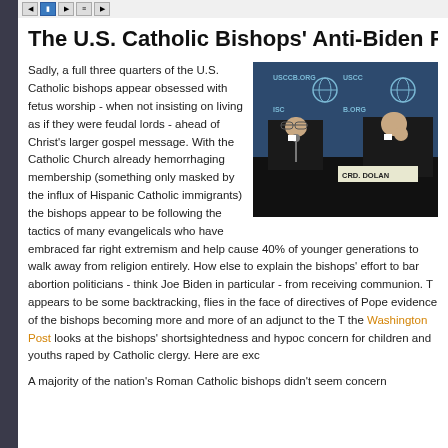navigation bar with buttons
The U.S. Catholic Bishops' Anti-Biden Proje
[Figure (photo): Two Catholic bishops in black clerical attire seated at a table with USCCB.org branded backdrop. A nameplate reading 'CRD. DOLAN' is visible.]
Sadly, a full three quarters of the U.S. Catholic bishops appear obsessed with fetus worship - when not insisting on living as if they were feudal lords - ahead of Christ's larger gospel message. With the Catholic Church already hemorrhaging membership (something only masked by the influx of Hispanic Catholic immigrants) the bishops appear to be following the tactics of many evangelicals who have embraced far right extremism and help cause 40% of younger generations to walk away from religion entirely. How else to explain the bishops' effort to bar abortion politicians - think Joe Biden in particular - from receiving communion. T appears to be some backtracking, flies in the face of directives of Pope evidence of the bishops becoming more and more of an adjunct to the T the Washington Post looks at the bishops' shortsightedness and hypoc concern for children and youths raped by Catholic clergy. Here are exc
A majority of the nation's Roman Catholic bishops didn't seem concern